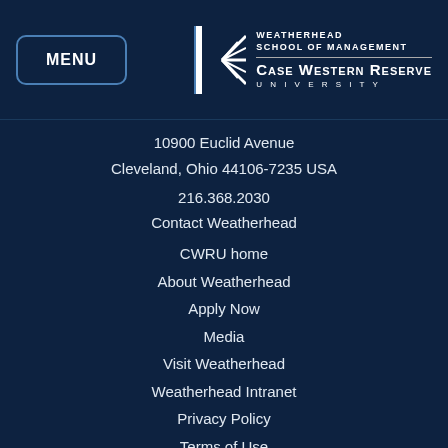MENU | WEATHERHEAD SCHOOL OF MANAGEMENT CASE WESTERN RESERVE UNIVERSITY
10900 Euclid Avenue
Cleveland, Ohio 44106-7235 USA
216.368.2030
Contact Weatherhead
CWRU home
About Weatherhead
Apply Now
Media
Visit Weatherhead
Weatherhead Intranet
Privacy Policy
Terms of Use
[Figure (other): Social media icons: Facebook, Twitter, LinkedIn, and partial row below]